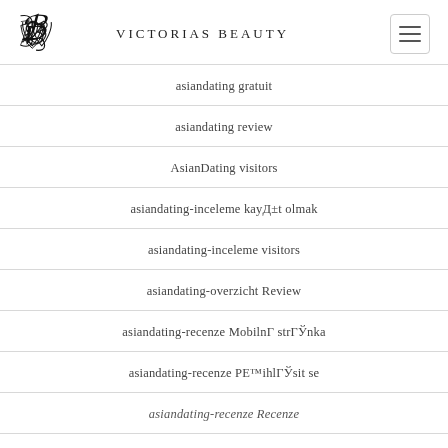Victorias Beauty
asiandating gratuit
asiandating review
AsianDating visitors
asiandating-inceleme kayД±t olmak
asiandating-inceleme visitors
asiandating-overzicht Review
asiandating-recenze MobilnГ strГЎnka
asiandating-recenze PE™ihlГЎsit se
asiandating-recenze Recenze